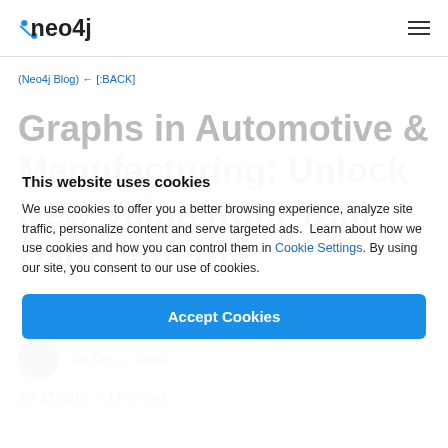neo4j [logo]
(Neo4j Blog) ← [:BACK]
Graphs in Automotive & Manufacturing: Unlock New Value from Your Data [Video]
Joe Dep... · Neo4j
Jun 27, 2019 · < 1 min read
This website uses cookies
We use cookies to offer you a better browsing experience, analyze site traffic, personalize content and serve targeted ads. Learn about how we use cookies and how you can control them in Cookie Settings. By using our site, you consent to our use of cookies.
Accept Cookies